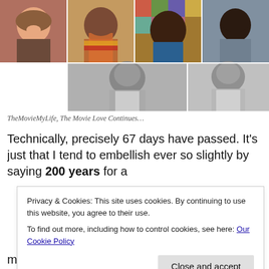[Figure (photo): Collage of six women's portraits: top row has four color photos (women smiling, one with colorful scarf, one with colorful background, one in teal jacket), bottom row has two black-and-white photos (women in formal attire).]
TheMovieMyLife, The Movie Love Continues…
Technically, precisely 67 days have passed. It's just that I tend to embellish ever so slightly by saying 200 years for a
Privacy & Cookies: This site uses cookies. By continuing to use this website, you agree to their use.
To find out more, including how to control cookies, see here: Our Cookie Policy
my daily routine.